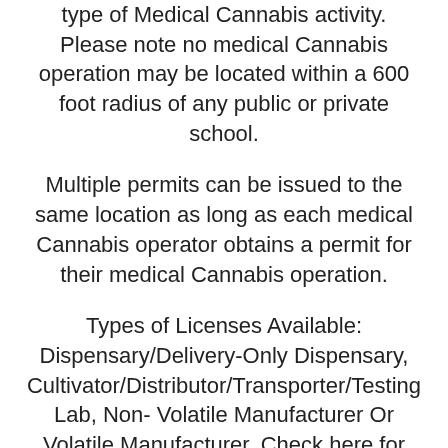type of Medical Cannabis activity. Please note no medical Cannabis operation may be located within a 600 foot radius of any public or private school.
Multiple permits can be issued to the same location as long as each medical Cannabis operator obtains a permit for their medical Cannabis operation.
Types of Licenses Available: Dispensary/Delivery-Only Dispensary, Cultivator/Distributor/Transporter/Testing Lab, Non- Volatile Manufacturer Or Volatile Manufacturer. Check here for admissibility.
A packaging operation should obtain a